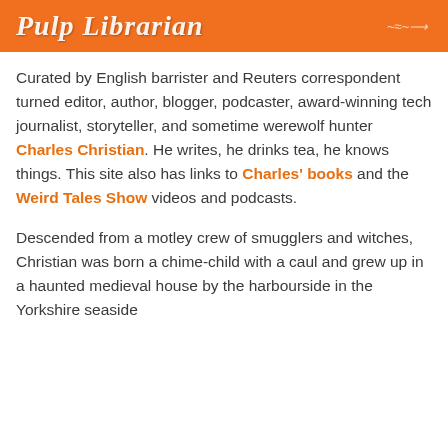[Figure (logo): Orange banner header with white stylized italic text reading 'Pulp Librarian' and a decorative illustration on the right side]
Curated by English barrister and Reuters correspondent turned editor, author, blogger, podcaster, award-winning tech journalist, storyteller, and sometime werewolf hunter Charles Christian. He writes, he drinks tea, he knows things. This site also has links to Charles' books and the Weird Tales Show videos and podcasts.
Descended from a motley crew of smugglers and witches, Christian was born a chime-child with a caul and grew up in a haunted medieval house by the harbourside in the Yorkshire seaside